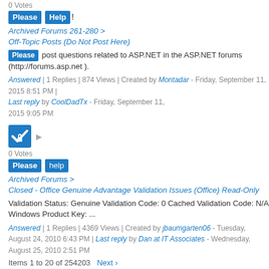0 Votes
Please Help !
Archived Forums 261-280 > Off-Topic Posts (Do Not Post Here)
Please post questions related to ASP.NET in the ASP.NET forums (http://forums.asp.net ).
Answered | 1 Replies | 874 Views | Created by Montadar - Friday, September 11, 2015 8:51 PM | Last reply by CoolDadTx - Friday, September 11, 2015 9:05 PM
[Figure (other): Blue checkmark with lock icon (answered/locked thread indicator)]
0 Votes
Please help
Archived Forums > Closed - Office Genuine Advantage Validation Issues (Office) Read-Only
Validation Status: Genuine Validation Code: 0 Cached Validation Code: N/A Windows Product Key: ...
Answered | 1 Replies | 4369 Views | Created by jbaumgarten06 - Tuesday, August 24, 2010 6:43 PM | Last reply by Dan at IT Associates - Wednesday, August 25, 2010 2:51 PM
Items 1 to 20 of 254203   Next ›